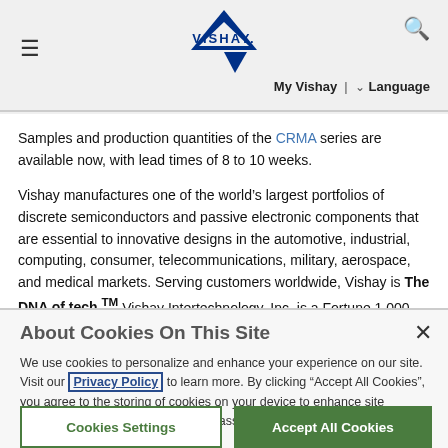Vishay header with logo, hamburger menu, search icon, My Vishay | Language navigation
Samples and production quantities of the CRMA series are available now, with lead times of 8 to 10 weeks.
Vishay manufactures one of the world’s largest portfolios of discrete semiconductors and passive electronic components that are essential to innovative designs in the automotive, industrial, computing, consumer, telecommunications, military, aerospace, and medical markets. Serving customers worldwide, Vishay is The DNA of tech.™ Vishay Intertechnology, Inc. is a Fortune 1,000 Company listed on the NYSE (VSH). More on Vishay at www.vishay.com.
About Cookies On This Site
We use cookies to personalize and enhance your experience on our site. Visit our Privacy Policy to learn more. By clicking “Accept All Cookies”, you agree to the storing of cookies on your device to enhance site navigation, analyze site usage, and assist in our marketing efforts.